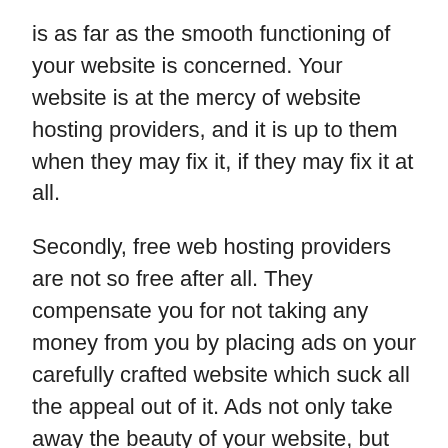is as far as the smooth functioning of your website is concerned. Your website is at the mercy of website hosting providers, and it is up to them when they may fix it, if they may fix it at all.
Secondly, free web hosting providers are not so free after all. They compensate you for not taking any money from you by placing ads on your carefully crafted website which suck all the appeal out of it. Ads not only take away the beauty of your website, but are also a huge distraction for the viewers of the website. Also, people don’t like ads, and view them in a very negative light these days, so having ads on your website will have a very demeaning effect on it.
Lastly, you do not have access to detailed website